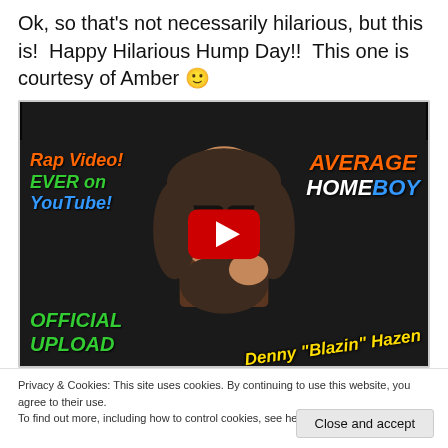Ok, so that's not necessarily hilarious, but this is!  Happy Hilarious Hump Day!!  This one is courtesy of Amber 🙂
[Figure (screenshot): YouTube video thumbnail for 'AVERAGE HOMEBOY - DENNY BLA...' showing a man with sunglasses and a mullet, with colorful text overlays including 'Rap Video! EVER on YouTube!', 'AVERAGE HOMEBOY', 'OFFICIAL UPLOAD', and 'Denny "Blazin" Hazen', with a red YouTube play button in the center.]
Privacy & Cookies: This site uses cookies. By continuing to use this website, you agree to their use.
To find out more, including how to control cookies, see here: Cookie Policy
Close and accept